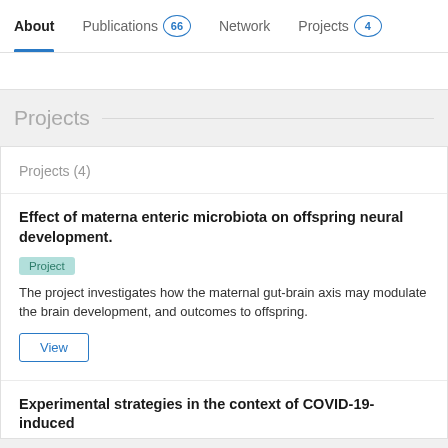About | Publications 66 | Network | Projects 4
Projects
Projects (4)
Effect of materna enteric microbiota on offspring neural development.
Project
The project investigates how the maternal gut-brain axis may modulate the brain development, and outcomes to offspring.
View
Experimental strategies in the context of COVID-19-induced